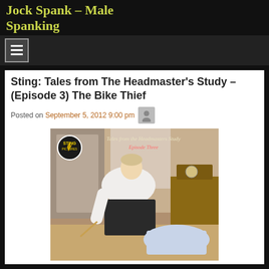Jock Spank – Male Spanking
Sting: Tales from The Headmaster's Study – (Episode 3) The Bike Thief
Posted on September 5, 2012 9:00 pm
[Figure (photo): Cover image for 'Tales from the Headmaster's Study – Episode Three' showing a man in white shirt bending over, with Sting Pictures logo in top left corner and cursive title text overlay.]